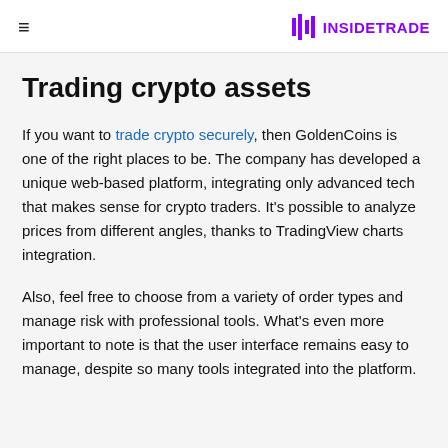≡  INSIDETRADE
Trading crypto assets
If you want to trade crypto securely, then GoldenCoins is one of the right places to be. The company has developed a unique web-based platform, integrating only advanced tech that makes sense for crypto traders. It's possible to analyze prices from different angles, thanks to TradingView charts integration.
Also, feel free to choose from a variety of order types and manage risk with professional tools. What's even more important to note is that the user interface remains easy to manage, despite so many tools integrated into the platform.